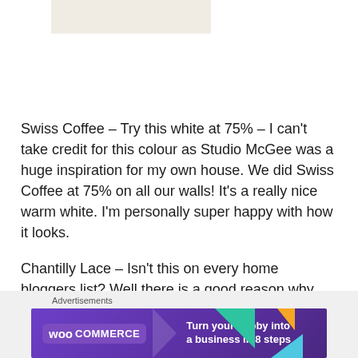[Figure (photo): Partial image placeholder at top of page, light beige/cream color]
Swiss Coffee – Try this white at 75% – I can't take credit for this colour as Studio McGee was a huge inspiration for my own house. We did Swiss Coffee at 75% on all our walls! It's a really nice warm white. I'm personally super happy with how it looks.
Chantilly Lace – Isn't this on every home bloggers list? Well there is a good reason why.
Advertisements
[Figure (screenshot): WooCommerce advertisement banner with purple background, teal and orange accent shapes, text reading 'Turn your hobby into a business in 8 steps']